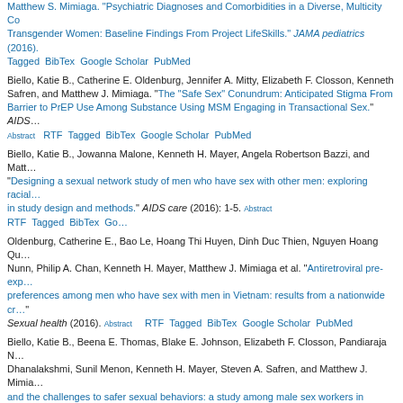Matthew S. Mimiaga. "Psychiatric Diagnoses and Comorbidities in a Diverse, Multicicity Cohort of Transgender Women: Baseline Findings From Project LifeSkills." JAMA pediatrics (2016).
Tagged BibTex Google Scholar PubMed
Biello, Katie B., Catherine E. Oldenburg, Jennifer A. Mitty, Elizabeth F. Closson, Kenneth Safren, and Matthew J. Mimiaga. "The "Safe Sex" Conundrum: Anticipated Stigma From Barrier to PrEP Use Among Substance Using MSM Engaging in Transactional Sex." AIDS... Abstract RTF Tagged BibTex Google Scholar PubMed
Biello, Katie B., Jowanna Malone, Kenneth H. Mayer, Angela Robertson Bazzi, and Matthew... "Designing a sexual network study of men who have sex with other men: exploring racial... in study design and methods." AIDS care (2016): 1-5. Abstract RTF Tagged BibTex Google...
Oldenburg, Catherine E., Bao Le, Hoang Thi Huyen, Dinh Duc Thien, Nguyen Hoang Qua... Nunn, Philip A. Chan, Kenneth H. Mayer, Matthew J. Mimiaga et al. "Antiretroviral pre-exp... preferences among men who have sex with men in Vietnam: results from a nationwide cr... Sexual health (2016). Abstract RTF Tagged BibTex Google Scholar PubMed
Biello, Katie B., Beena E. Thomas, Blake E. Johnson, Elizabeth F. Closson, Pandiaraja N. Dhanalakshmi, Sunil Menon, Kenneth H. Mayer, Steven A. Safren, and Matthew J. Mimiaga... and the challenges to safer sexual behaviors: a study among male sex workers in Chennai... (2016): 1-8. Abstract RTF Tagged BibTex Google Scholar PubMed
White Hughto, Jaclyn M., Katie B. Biello, Sari L. Reisner, Amaya Perez-Brumer, Katherine... Matthew J. Mimiaga. "Health Risk Behaviors in a Representative Sample of Bisexual and... High School Students in Massachusetts." The Journal of school health 86, no. 1 (2016): 6... Tagged BibTex Google Scholar PubMed
Biello, Katie B., Catherine E. Oldenburg, Steven A. Safren, Joshua G. Rosenberger, Davi... H. Mayer, and Matthew J. Mimiaga. "Multiple syndemic psychosocial factors are associat... engagement in HIV care among a multinational, online sample of HIV-infected MSM in La... care (2016): 1-8. Abstract RTF Tagged BibTex Google Scholar PubMed
2015